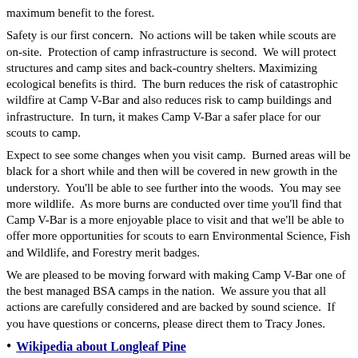maximum benefit to the forest.
Safety is our first concern.  No actions will be taken while scouts are on-site.  Protection of camp infrastructure is second.  We will protect structures and camp sites and back-country shelters.  Maximizing ecological benefits is third.  The burn reduces the risk of catastrophic wildfire at Camp V-Bar and also reduces risk to camp buildings and infrastructure.  In turn, it makes Camp V-Bar a safer place for our scouts to camp.
Expect to see some changes when you visit camp.  Burned areas will be black for a short while and then will be covered in new growth in the understory.  You'll be able to see further into the woods.  You may see more wildlife.  As more burns are conducted over time you'll find that Camp V-Bar is a more enjoyable place to visit and that we'll be able to offer more opportunities for scouts to earn Environmental Science, Fish and Wildlife, and Forestry merit badges.
We are pleased to be moving forward with making Camp V-Bar one of the best managed BSA camps in the nation.  We assure you that all actions are carefully considered and are backed by sound science.  If you have questions or concerns, please direct them to Tracy Jones.
Wikipedia about Longleaf Pine